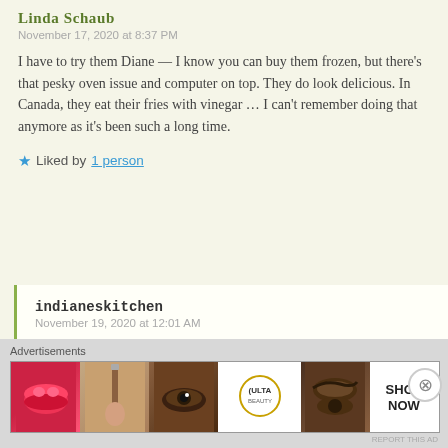Linda Schaub
November 17, 2020 at 8:37 PM
I have to try them Diane — I know you can buy them frozen, but there's that pesky oven issue and computer on top. They do look delicious. In Canada, they eat their fries with vinegar … I can't remember doing that anymore as it's been such a long time.
Liked by 1 person
indianeskitchen
November 19, 2020 at 12:01 AM
I LOVE my regular fries with vinegar but not my sweet potatoes.
Advertisements
[Figure (photo): Ulta Beauty advertisement banner showing makeup images including lips, brush, eye, Ulta logo, brows, and Shop Now text]